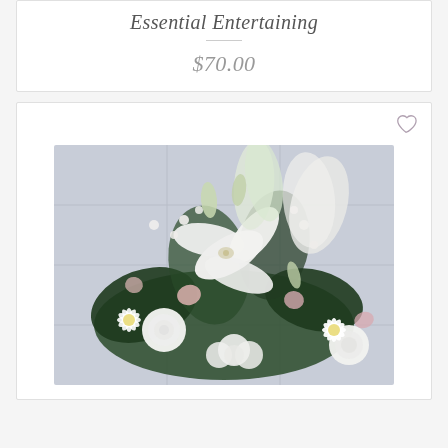Essential Entertaining
$70.00
[Figure (photo): Floral arrangement with white lilies, white roses, white daisies, pink carnations, and greenery, photographed against a light blue/grey paneled wall background.]